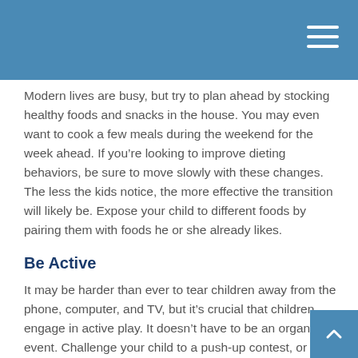Modern lives are busy, but try to plan ahead by stocking healthy foods and snacks in the house. You may even want to cook a few meals during the weekend for the week ahead. If you're looking to improve dieting behaviors, be sure to move slowly with these changes. The less the kids notice, the more effective the transition will likely be. Expose your child to different foods by pairing them with foods he or she already likes.
Be Active
It may be harder than ever to tear children away from the phone, computer, and TV, but it's crucial that children engage in active play. It doesn't have to be an organized event. Challenge your child to a push-up contest, or offer to play goalie so he or she can practice soccer kicks. Connect physical activity to a positive experience.